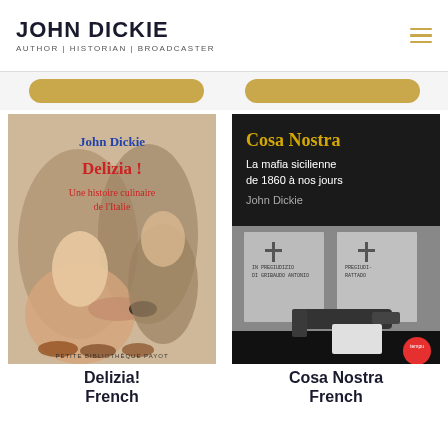JOHN DICKIE — AUTHOR | HISTORIAN | BROADCASTER
[Figure (photo): Book cover: Delizia! Une histoire culinaire de l'Italie by John Dickie — French edition, Petite Bibliothèque Payot. Shows vintage photo of woman serving food to man.]
[Figure (photo): Book cover: Cosa Nostra La mafia sicilienne de 1860 à nos jours by John Dickie — French edition, Tempu. Dark cover with police documents and a handgun.]
Delizia! French
Cosa Nostra French